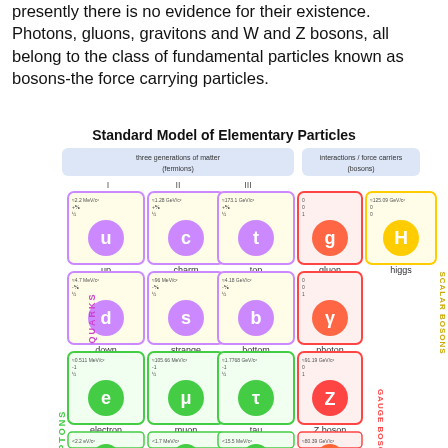presently there is no evidence for their existence. Photons, gluons, gravitons and W and Z bosons, all belong to the class of fundamental particles known as bosons-the force carrying particles.
[Figure (infographic): Standard Model of Elementary Particles diagram showing three generations of matter (fermions) and interactions/force carriers (bosons). Quarks: up, charm, top, down, strange, bottom. Leptons: electron, muon, tau, and neutrinos. Bosons: gluon, photon, Z boson, W boson, Higgs. Each particle shown with mass, charge, spin properties.]